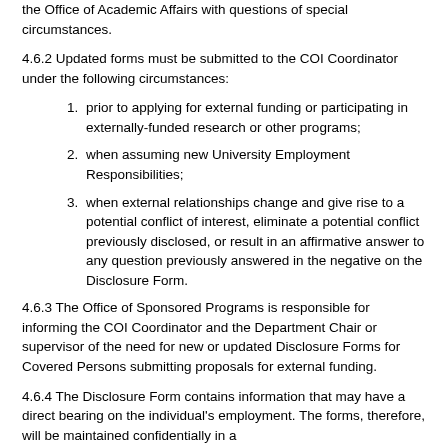the Office of Academic Affairs with questions of special circumstances.
4.6.2 Updated forms must be submitted to the COI Coordinator under the following circumstances:
prior to applying for external funding or participating in externally-funded research or other programs;
when assuming new University Employment Responsibilities;
when external relationships change and give rise to a potential conflict of interest, eliminate a potential conflict previously disclosed, or result in an affirmative answer to any question previously answered in the negative on the Disclosure Form.
4.6.3 The Office of Sponsored Programs is responsible for informing the COI Coordinator and the Department Chair or supervisor of the need for new or updated Disclosure Forms for Covered Persons submitting proposals for external funding.
4.6.4 The Disclosure Form contains information that may have a direct bearing on the individual's employment. The forms, therefore, will be maintained confidentially in a